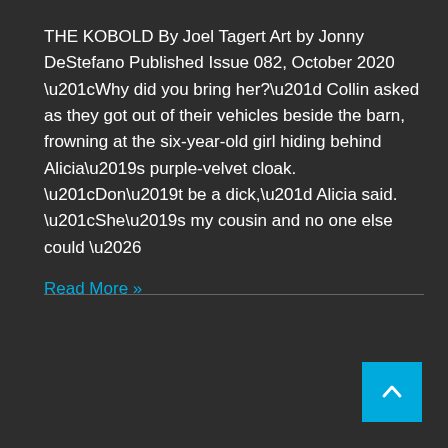THE KOBOLD By Joel Tagert Art by Jonny DeStefano Published Issue 082, October 2020 “Why did you bring her?” Collin asked as they got out of their vehicles beside the barn, frowning at the six-year-old girl hiding behind Alicia’s purple-velvet cloak.  “Don’t be a dick,” Alicia said. “She’s my cousin and no one else could …
Read More »